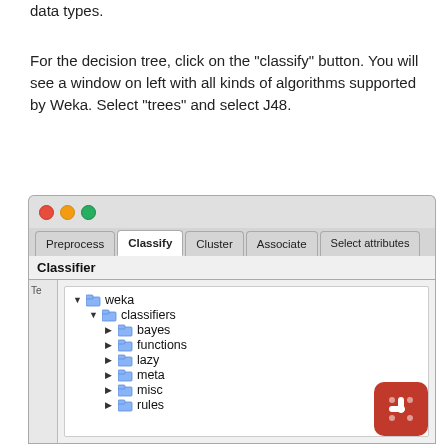data types.
For the decision tree, click on the "classify" button. You will see a window on left with all kinds of algorithms supported by Weka. Select "trees" and select J48.
[Figure (screenshot): Weka Explorer window showing the Classify tab selected, with a tree panel displaying weka > classifiers, with subfolders: bayes, functions, lazy, meta, misc, rules (partially visible)]